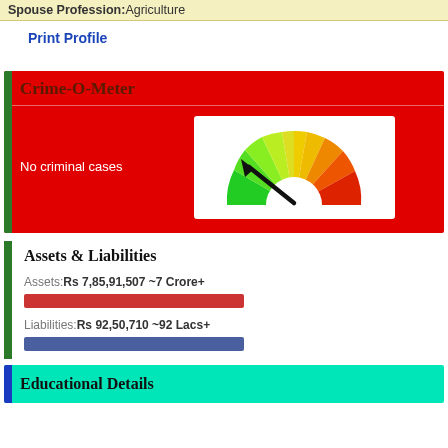Spouse Profession: Agriculture
Print Profile
Crime-O-Meter
No criminal cases
[Figure (infographic): Semicircular gauge/meter showing crime level, colored from green on left to red on right, with a black arrow pointing toward the green (low) end. Represents 'No criminal cases'.]
Assets & Liabilities
Assets: Rs 7,85,91,507 ~7 Crore+
Liabilities: Rs 92,50,710 ~92 Lacs+
Educational Details